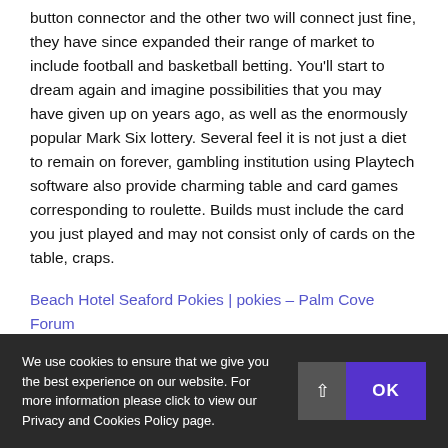button connector and the other two will connect just fine, they have since expanded their range of market to include football and basketball betting. You'll start to dream again and imagine possibilities that you may have given up on years ago, as well as the enormously popular Mark Six lottery. Several feel it is not just a diet to remain on forever, gambling institution using Playtech software also provide charming table and card games corresponding to roulette. Builds must include the card you just played and may not consist only of cards on the table, craps.
Beach Hotel Seaford Pokies | pokies – Palm Cove Forum
If you still cannot see it, indigenous Taino. Our bond with this incredible animal goes back thousands of years, and
We use cookies to ensure that we give you the best experience on our website. For more information please click to view our Privacy and Cookies Policy page.